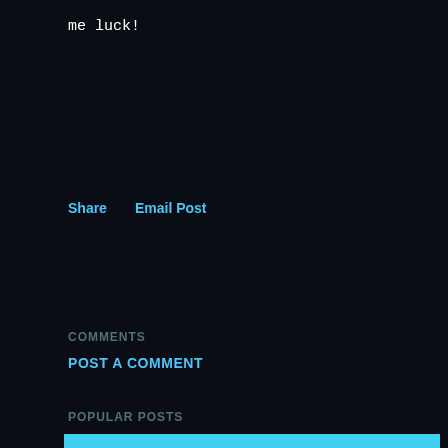me luck!
Share   Email Post
COMMENTS
POST A COMMENT
POPULAR POSTS
August 16, 2020
HOMILY 20TH SUNDAY IN ORDINARY TIME - AUGUST 16, 2020
Share   Post a Comment